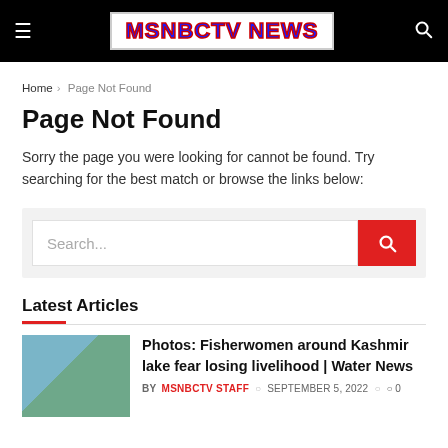MSNBCTV NEWS
Home > Page Not Found
Page Not Found
Sorry the page you were looking for cannot be found. Try searching for the best match or browse the links below:
Latest Articles
Photos: Fisherwomen around Kashmir lake fear losing livelihood | Water News
BY MSNBCTV STAFF  SEPTEMBER 5, 2022  0